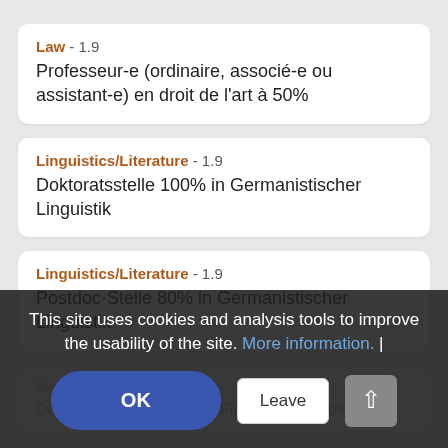Law - 1.9
Professeur-e (ordinaire, associé-e ou assistant-e) en droit de l'art à 50%
Linguistics/Literature - 1.9
Doktoratsstelle 100% in Germanistischer Linguistik
Linguistics/Literature - 1.9
Postdoc-Stelle 80% in Germanistischer Linguistik
This site uses cookies and analysis tools to improve the usability of the site. More information. |